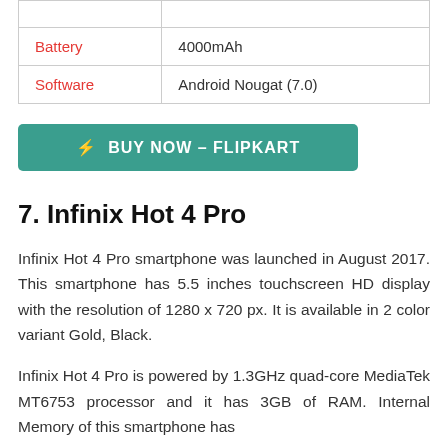| Spec | Value |
| --- | --- |
| Battery | 4000mAh |
| Software | Android Nougat (7.0) |
⚡ BUY NOW – FLIPKART
7. Infinix Hot 4 Pro
Infinix Hot 4 Pro smartphone was launched in August 2017. This smartphone has 5.5 inches touchscreen HD display with the resolution of 1280 x 720 px. It is available in 2 color variant Gold, Black.
Infinix Hot 4 Pro is powered by 1.3GHz quad-core MediaTek MT6753 processor and it has 3GB of RAM. Internal Memory of this smartphone has